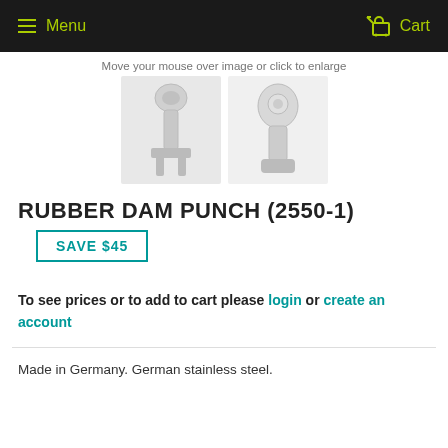Menu   Cart
Move your mouse over image or click to enlarge
[Figure (photo): Two views of a rubber dam punch dental instrument made of stainless steel]
RUBBER DAM PUNCH (2550-1)
SAVE $45
To see prices or to add to cart please login or create an account
Made in Germany. German stainless steel.